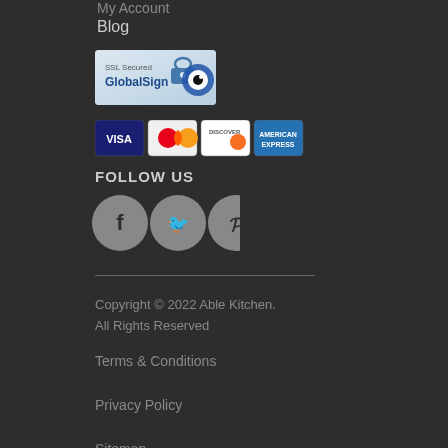My Account
Blog
[Figure (logo): SSL Secured GlobalSign badge with padlock icon]
[Figure (infographic): Payment card icons: Visa, Mastercard, Discover, American Express]
FOLLOW US
[Figure (infographic): Social media icons: Facebook, Twitter, Pinterest]
Copyright © 2022 Able Kitchen. All Rights Reserved
Terms & Conditions
Privacy Policy
Sitemap